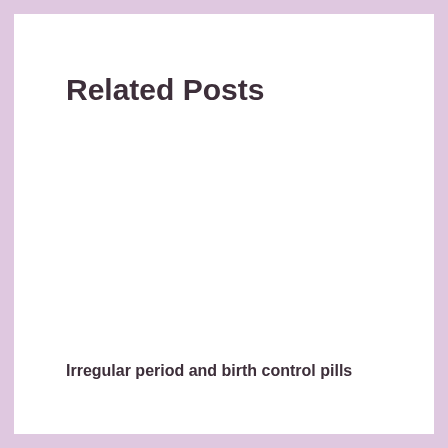Related Posts
Irregular period and birth control pills